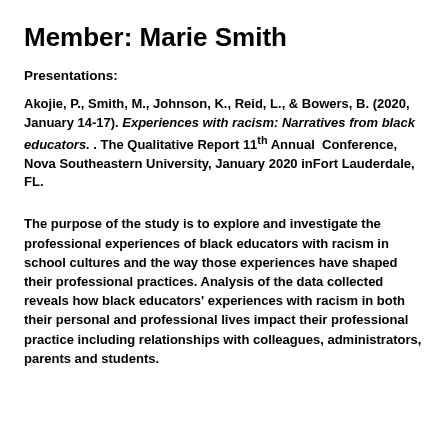Member:  Marie Smith
Presentations:
Akojie, P., Smith, M., Johnson, K., Reid, L., & Bowers, B. (2020, January 14-17). Experiences with racism: Narratives from black educators. . The Qualitative Report 11th Annual  Conference, Nova Southeastern University, January 2020 inFort Lauderdale, FL.
The purpose of the study is to explore and investigate the professional experiences of black educators with racism in school cultures and the way those experiences have shaped their professional practices. Analysis of the data collected reveals how black educators' experiences with racism in both their personal and professional lives impact their professional practice including relationships with colleagues, administrators, parents and students.